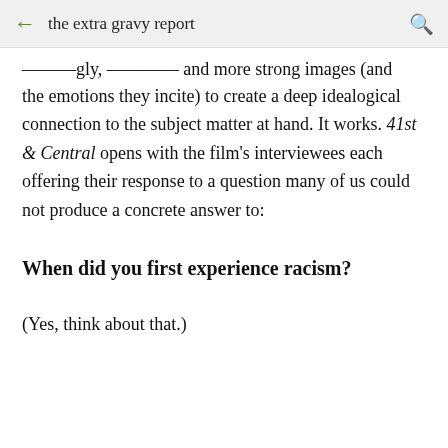the extra gravy report
…angly, screen and more strong images (and the emotions they incite) to create a deep idealogical connection to the subject matter at hand. It works. 41st & Central opens with the film's interviewees each offering their response to a question many of us could not produce a concrete answer to:
When did you first experience racism?
(Yes, think about that.)